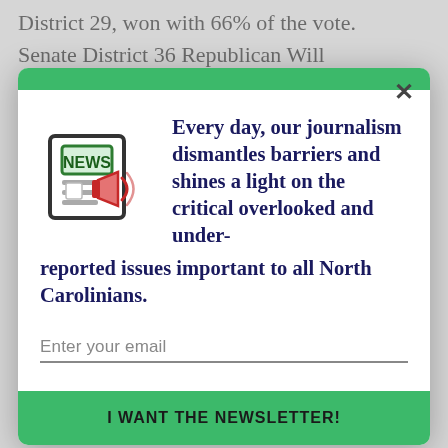District 29, won with 66% of the vote.
Senate District 36 Republican Will
[Figure (infographic): Newsletter signup modal popup with green top bar, newspaper icon with megaphone, dark blue bold headline text, email input field, and green CTA button]
Every day, our journalism dismantles barriers and shines a light on the critical overlooked and under-reported issues important to all North Carolinians.
Enter your email
I WANT THE NEWSLETTER!
Ralph Hise narrowly leads state Sen. Deanna Ballard, who currently represents